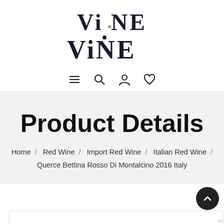[Figure (logo): ViNE logo in bold serif font with a small dot above the letter i]
[Figure (infographic): Navigation icons: hamburger menu, search, user account, and heart/wishlist]
Product Details
Home / Red Wine / Import Red Wine / Italian Red Wine / Querce Bettina Rosso Di Montalcino 2016 Italy